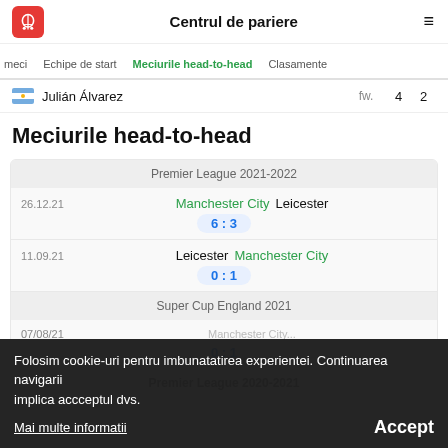Centrul de pariere
meci | Echipe de start | Meciurile head-to-head | Clasamente
|  | Player | pos | col1 | col2 |
| --- | --- | --- | --- | --- |
| AR flag | Julián Álvarez | fw. | 4 | 2 |
Meciurile head-to-head
Premier League 2021-2022
26.12.21 — Manchester City vs Leicester — 6 : 3
11.09.21 — Leicester vs Manchester City — 0 : 1
Super Cup England 2021
07/08/21 — 0 : 1
Premier League 2020-2021
Folosim cookie-uri pentru imbunatatirea experientei. Continuarea navigarii implica accceptul dvs.
Mai multe informatii
Accept